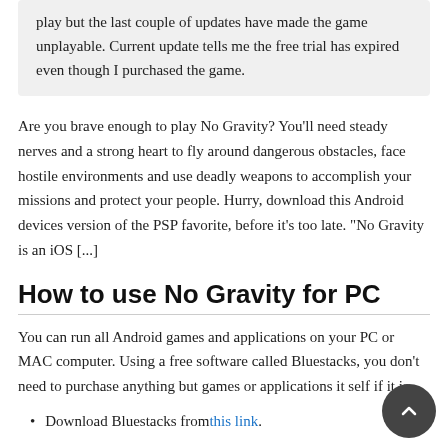play but the last couple of updates have made the game unplayable. Current update tells me the free trial has expired even though I purchased the game.
Are you brave enough to play No Gravity? You'll need steady nerves and a strong heart to fly around dangerous obstacles, face hostile environments and use deadly weapons to accomplish your missions and protect your people. Hurry, download this Android devices version of the PSP favorite, before it's too late. "No Gravity is an iOS [...]
How to use No Gravity for PC
You can run all Android games and applications on your PC or MAC computer. Using a free software called Bluestacks, you don't need to purchase anything but games or applications it self if it is
Download Bluestacks from this link.